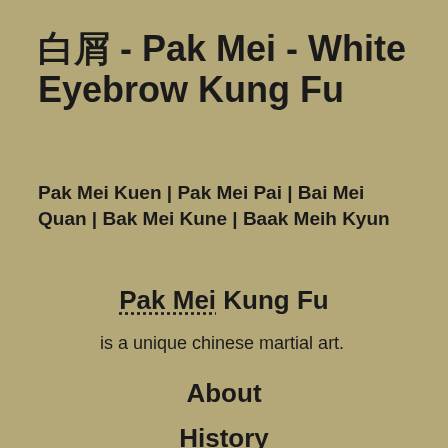白眉 - Pak Mei - White Eyebrow Kung Fu
Pak Mei Kuen | Pak Mei Pai | Bai Mei Quan | Bak Mei Kune | Baak Meih Kyun
Pak Mei Kung Fu
is a unique chinese martial art.
About
History
Basics